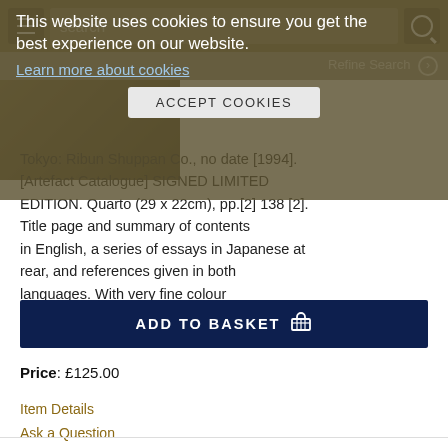search | Refine Search
This website uses cookies to ensure you get the best experience on our website. Learn more about cookies
ACCEPT COOKIES
Tokyo: Ribun Shuppan Co., no date [1994]. [Artefact Catalogue] SIGNED LIMITED EDITION. Quarto (29 x 22cm), pp.[2] 138 [2]. Title page and summary of contents in English, a series of essays in Japanese at rear, and references given in both languages. With very fine colour photographic images of..... More >
ADD TO BASKET
Price: £125.00
Item Details
Ask a Question